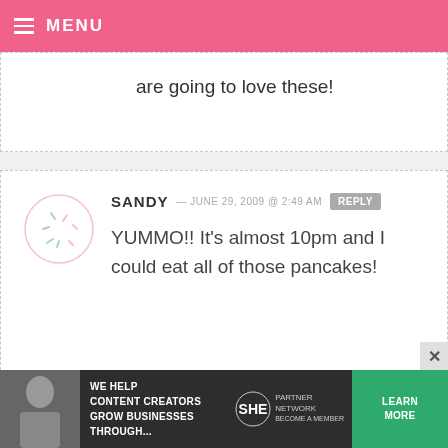MENU
are going to love these!
SANDY — JUNE 29, 2009 @ 2:49 AM  REPLY
YUMMO!! It's almost 10pm and I could eat all of those pancakes!
PAIGE — JUNE 29, 2009 @ 2:47 AM  REPLY
Those pictures make my mouth water just looking at them! Thanks for
[Figure (infographic): SHE Partner Network advertisement banner at bottom of page]